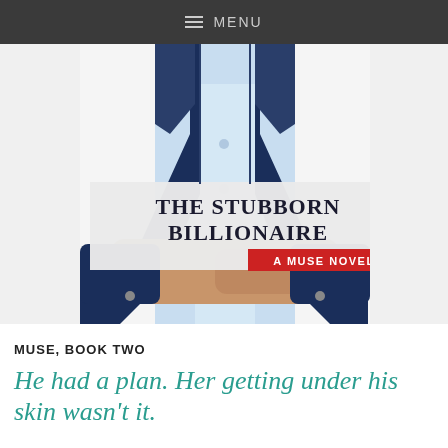≡ MENU
[Figure (illustration): Book cover for 'The Stubborn Billionaire: A Muse Novel' showing a man in a navy blue suit with a light blue shirt, arms crossed, torso only visible. Title text overlaid in a semi-transparent white banner reading 'THE STUBBORN BILLIONAIRE' with a red badge reading 'A MUSE NOVEL'.]
MUSE, BOOK TWO
He had a plan. Her getting under his skin wasn't it.